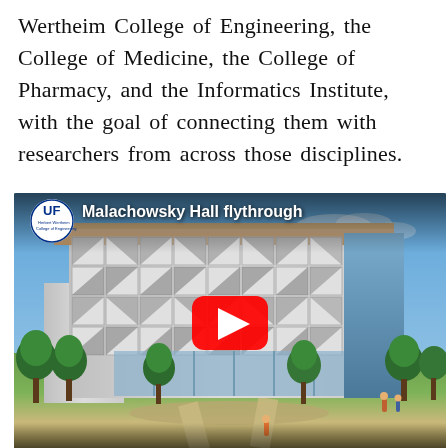Wertheim College of Engineering, the College of Medicine, the College of Pharmacy, and the Informatics Institute, with the goal of connecting them with researchers from across those disciplines.
[Figure (screenshot): YouTube video thumbnail showing Malachowsky Hall flythrough. The thumbnail shows a modern building with a geometric white facade featuring triangular patterns, glass sections, and surrounded by trees and green landscaping. A YouTube play button (red rectangle with white triangle) is centered on the image. The UF (Herbert Wertheim College of Engineering) circular logo is in the upper left with the video title 'Malachowsky Hall flythrough' in white text.]